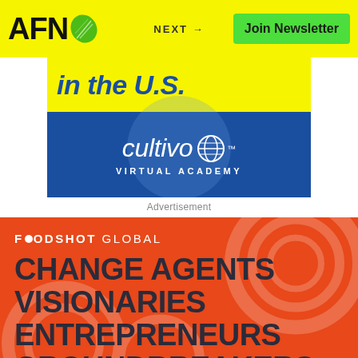AFN — NEXT → Join Newsletter
[Figure (illustration): Advertisement banner for Cultivo Virtual Academy showing 'in the U.S.' text on yellow background with blue Cultivo logo and globe icon]
Advertisement
[Figure (illustration): FoodShot Global promotional image on orange background with decorative swirls, showing text: CHANGE AGENTS VISIONARIES ENTREPRENEURS GROUNDBREAKERS]